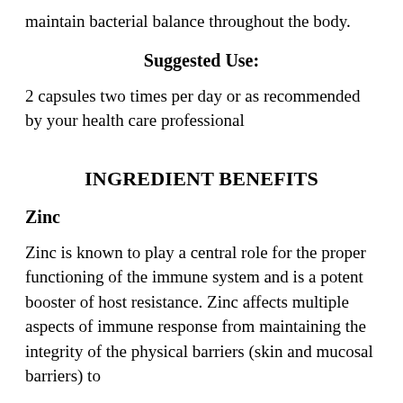maintain bacterial balance throughout the body.
Suggested Use:
2 capsules two times per day or as recommended by your health care professional
INGREDIENT BENEFITS
Zinc
Zinc is known to play a central role for the proper functioning of the immune system and is a potent booster of host resistance. Zinc affects multiple aspects of immune response from maintaining the integrity of the physical barriers (skin and mucosal barriers) to activating enzymes within lymphocytes. Zinc is also